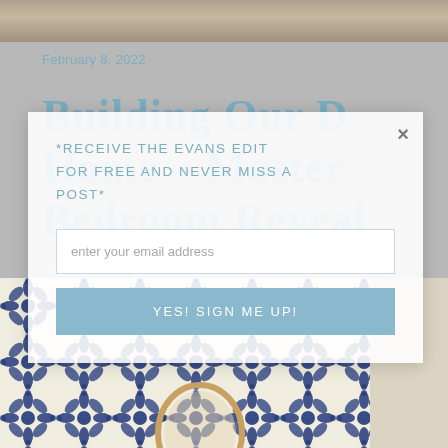[Figure (photo): Top strip of a room photo showing furniture]
February 8, 2022
Building Our Dream Home – Master Bedroom Reveal
Read More
[Figure (screenshot): Email signup modal overlay with close button, text '*Receive The Evans Edit for free and never miss a post*', email input field, and 'YES! SIGN ME UP!' button]
[Figure (photo): Bottom photo showing blue and white floral/geometric patterned wallpaper with a round gold mirror]